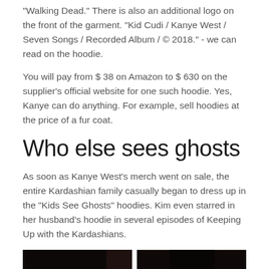"Walking Dead." There is also an additional logo on the front of the garment. "Kid Cudi / Kanye West / Seven Songs / Recorded Album / © 2018." - we can read on the hoodie.
You will pay from $ 38 on Amazon to $ 630 on the supplier's official website for one such hoodie. Yes, Kanye can do anything. For example, sell hoodies at the price of a fur coat.
Who else sees ghosts
As soon as Kanye West's merch went on sale, the entire Kardashian family casually began to dress up in the "Kids See Ghosts" hoodies. Kim even starred in her husband's hoodie in several episodes of Keeping Up with the Kardashians.
[Figure (photo): Two side-by-side photos of women with dark hair, likely Kim Kardashian in two different settings]